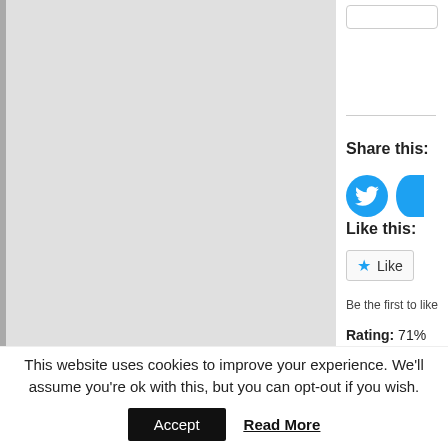[Figure (screenshot): Left panel showing a large light gray image area with a dark gray left border strip]
Share this:
[Figure (illustration): Twitter social share button icon - blue circle with white bird logo]
[Figure (illustration): Partially visible second social share button - blue circle cut off at right edge]
Like this:
★ Like
Be the first to like
Rating: 71%
Website:
This website uses cookies to improve your experience. We'll assume you're ok with this, but you can opt-out if you wish.
Accept
Read More